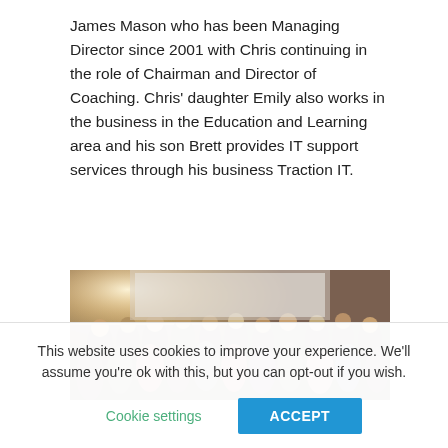James Mason who has been Managing Director since 2001 with Chris continuing in the role of Chairman and Director of Coaching. Chris' daughter Emily also works in the business in the Education and Learning area and his son Brett provides IT support services through his business Traction IT.
[Figure (photo): Group photo of a large number of people (approximately 30+) posing together indoors, likely at a business or professional event.]
This website uses cookies to improve your experience. We'll assume you're ok with this, but you can opt-out if you wish.
Cookie settings   ACCEPT